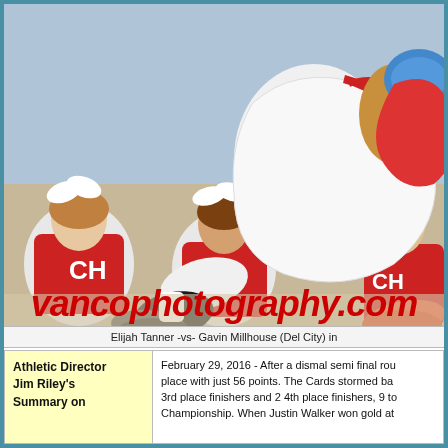[Figure (photo): Wrestling match photo: an athlete in white singlet mid-air performing a takedown on an opponent in red singlet with blue headgear, while cheerleaders in red and white CH uniforms sit in the background watching. Watermark text 'vancophotography.com' in bold red italic at the bottom of the photo.]
Elijah Tanner -vs- Gavin Millhouse (Del City) in
| Athletic Director Jim Riley's Summary on | February 29, 2016 - After a dismal semi final rou place with just 56 points. The Cards stormed ba 3rd place finishers and 2 4th place finishers, 9 to Championship. When Justin Walker won gold at |